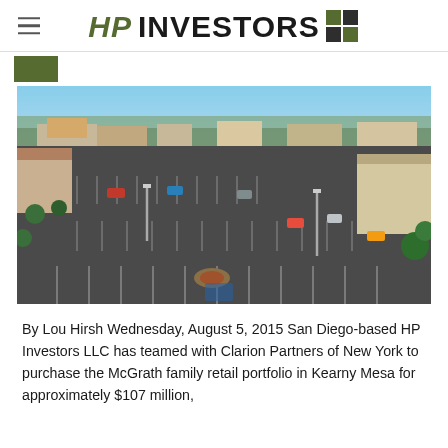HP INVESTORS
[Figure (photo): Aerial drone view of a large retail shopping center parking lot in Kearny Mesa, San Diego, with commercial buildings, palm trees, and surrounding urban area visible in the background.]
By Lou Hirsh Wednesday, August 5, 2015 San Diego-based HP Investors LLC has teamed with Clarion Partners of New York to purchase the McGrath family retail portfolio in Kearny Mesa for approximately $107 million,